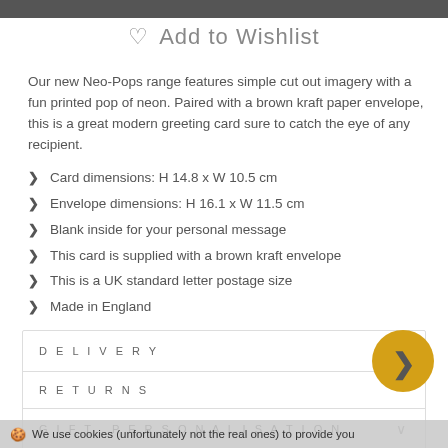♡ Add to Wishlist
Our new Neo-Pops range features simple cut out imagery with a fun printed pop of neon. Paired with a brown kraft paper envelope, this is a great modern greeting card sure to catch the eye of any recipient.
Card dimensions: H 14.8 x W 10.5 cm
Envelope dimensions: H 16.1 x W 11.5 cm
Blank inside for your personal message
This card is supplied with a brown kraft envelope
This is a UK standard letter postage size
Made in England
| Section | Toggle |
| --- | --- |
| DELIVERY | v |
| RETURNS |  |
| GIFT PERSONALISATION | v |
[Figure (logo): Gold circular badge with a dark V/heart checkmark icon]
We use cookies (unfortunately not the real ones) to provide you